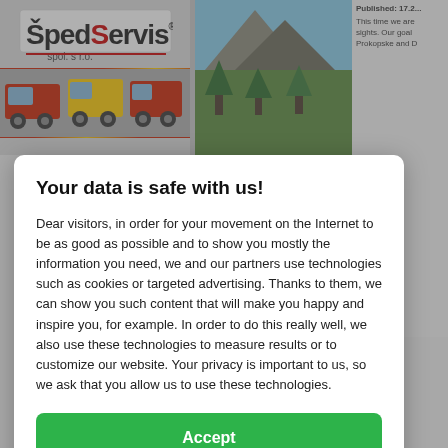[Figure (screenshot): Background webpage showing SpedServis logo with trucks and a nature/mountain photo, with partial article text on the right side.]
Your data is safe with us!
Dear visitors, in order for your movement on the Internet to be as good as possible and to show you mostly the information you need, we and our partners use technologies such as cookies or targeted advertising. Thanks to them, we can show you such content that will make you happy and inspire you, for example. In order to do this really well, we also use these technologies to measure results or to customize our website. Your privacy is important to us, so we ask that you allow us to use these technologies.
Accept
Deny
Set